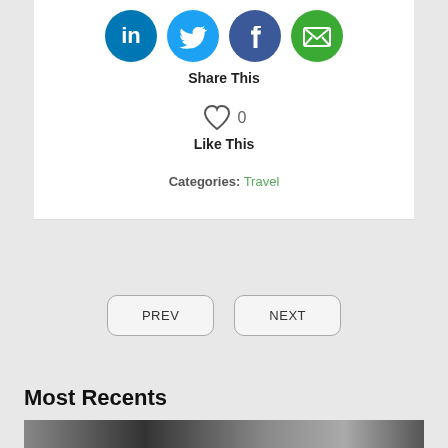[Figure (other): Social media share icons: LinkedIn (blue circle with 'in'), Twitter (light blue circle with bird), Facebook (dark blue circle with 'f'), Email (green circle with envelope)]
Share This
[Figure (other): Heart icon outline with count 0]
Like This
Categories: Travel
PREV
NEXT
Most Recents
[Figure (photo): Partial image at bottom showing text that appears to read 'CAFE ISM' or similar, dark background]